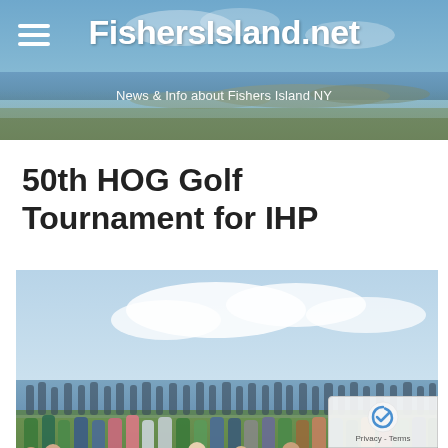FishersIsland.net — News & Info about Fishers Island NY
50th HOG Golf Tournament for IHP
[Figure (photo): Large crowd of people gathered outdoors on a lawn near the waterfront, seemingly at a golf or community event. People of all ages are present, clapping and standing together. Sky and water visible in the background.]